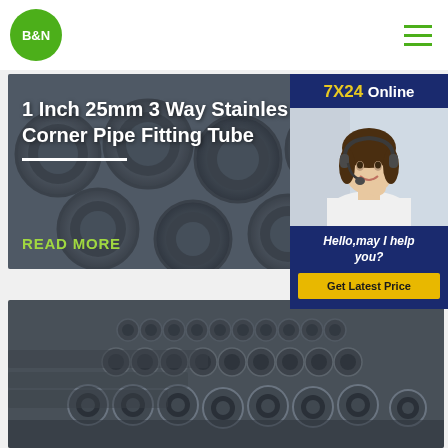[Figure (logo): B&N green circular logo with white bold text]
[Figure (illustration): Hamburger menu icon with three green horizontal lines]
[Figure (photo): Dark steel pipes bundle image with product title overlay: 1 Inch 25mm 3 Way Stainless Corner Pipe Fitting Tube]
READ MORE
[Figure (infographic): 7X24 Online sidebar panel with customer service representative photo and Hello,may I help you? text and Get Latest Price button]
[Figure (photo): Stack of dark metal pipes photo]